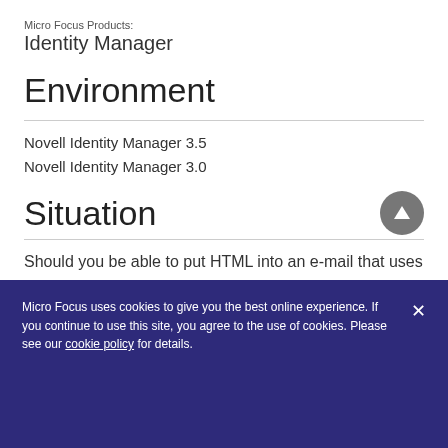Micro Focus Products:
Identity Manager
Environment
Novell Identity Manager 3.5
Novell Identity Manager 3.0
Situation
Should you be able to put HTML into an e-mail that uses the template? Driver has chosen HTML as the type of template but the HTML entered from the
Micro Focus uses cookies to give you the best online experience. If you continue to use this site, you agree to the use of cookies. Please see our cookie policy for details.